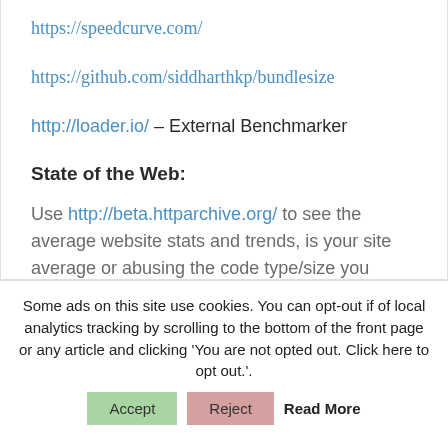https://speedcurve.com/
https://github.com/siddharthkp/bundlesize
http://loader.io/ – External Benchmarker
State of the Web:
Use http://beta.httparchive.org/ to see the average website stats and trends, is your site average or abusing the code type/size you push?
Some ads on this site use cookies. You can opt-out if of local analytics tracking by scrolling to the bottom of the front page or any article and clicking 'You are not opted out. Click here to opt out.'.